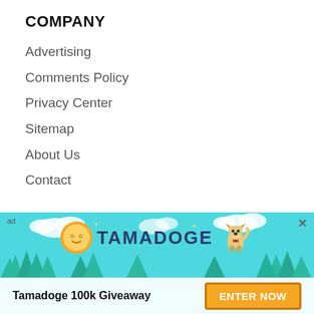COMPANY
Advertising
Comments Policy
Privacy Center
Sitemap
About Us
Contact
Technical Analysis
Bitcoin (BTC)
Ethereum (ETH)
Ripple (XRP)
Chainlink (UNK)
[Figure (illustration): Tamadoge 100k Giveaway advertisement banner with pixel-art dog, coin logo, sky and trees background, and Enter Now button]